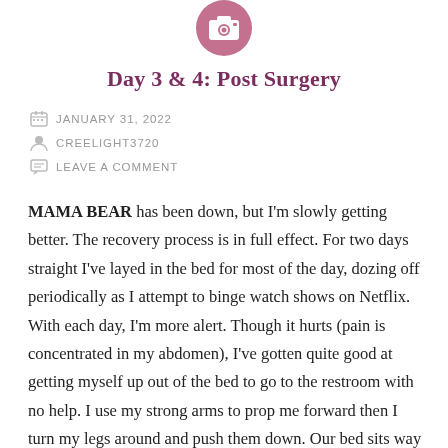[Figure (logo): Camera/photo icon in a pink/mauve circle at top center]
Day 3 & 4: Post Surgery
JANUARY 31, 2022
CREELIGHT3720
LEAVE A COMMENT
MAMA BEAR has been down, but I'm slowly getting better. The recovery process is in full effect. For two days straight I've layed in the bed for most of the day, dozing off periodically as I attempt to binge watch shows on Netflix. With each day, I'm more alert. Though it hurts (pain is concentrated in my abdomen), I've gotten quite good at getting myself up out of the bed to go to the restroom with no help. I use my strong arms to prop me forward then I turn my legs around and push them down. Our bed sits way higher than the hospital bed so it's a challenge. It also hurts to get back in the bed and to walk, but I know the pain will ease with time. My husband Pam also has